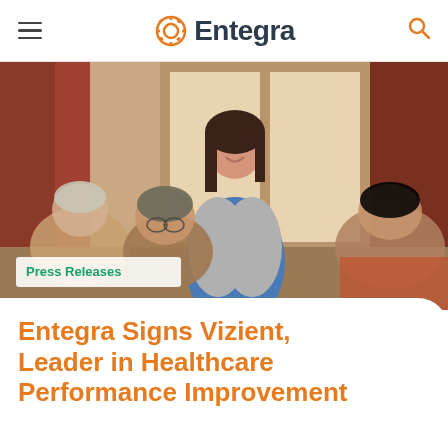Entegra
[Figure (photo): Healthcare worker in blue scrubs and grey cardigan smiling and leaning over elderly patients seated at tables in a care facility. Several elderly women are visible in the foreground and background.]
Press Releases
Entegra Signs Vizient, Leader in Healthcare Performance Improvement